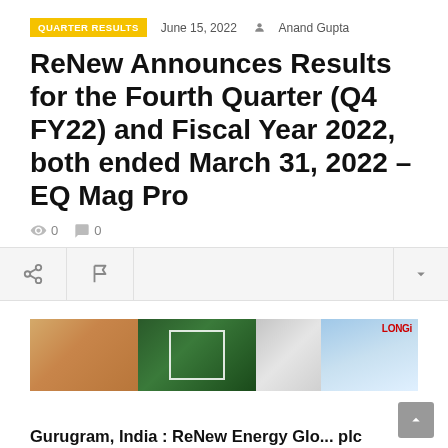QUARTER RESULTS   June 15, 2022   Anand Gupta
ReNew Announces Results for the Fourth Quarter (Q4 FY22) and Fiscal Year 2022, both ended March 31, 2022 – EQ Mag Pro
👁 0   💬 0
[Figure (screenshot): Toolbar with share icon, flag icon, and dropdown arrow on grey background]
[Figure (photo): LONGi advertisement banner showing desert landscape, aerial green road, grey mountain terrain, and green fields with LONGi logo]
Gurugram, India : ReNew Energy Glo... plc ("ReNew" or "the Company") (Nasdaq: